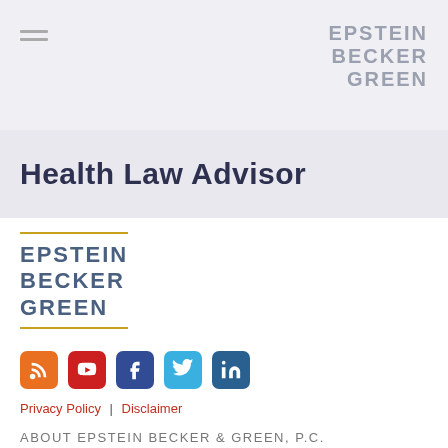EPSTEIN BECKER GREEN
Health Law Advisor
[Figure (logo): Epstein Becker Green logo with gold top and bottom rules, teal/slate colored block letters]
[Figure (infographic): Social media icons row: RSS (orange), YouTube (red), Facebook (dark blue), Twitter (light blue), LinkedIn (dark blue)]
Privacy Policy  |  Disclaimer
ABOUT EPSTEIN BECKER & GREEN, P.C.
Epstein Becker & Green, P.C., is a national law firm with a primary focus on health care and life sciences; employment, labor, and workforce management; and